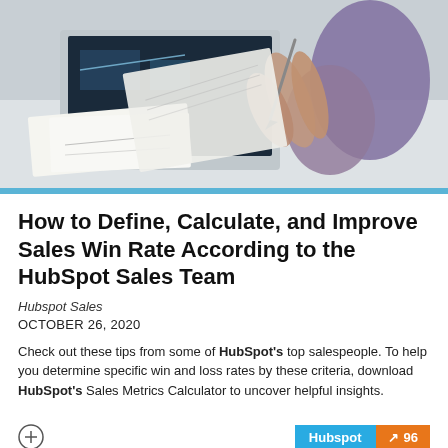[Figure (photo): Person holding a document/paper with a laptop and charts visible in the background, business/sales context]
How to Define, Calculate, and Improve Sales Win Rate According to the HubSpot Sales Team
Hubspot Sales
OCTOBER 26, 2020
Check out these tips from some of HubSpot's top salespeople. To help you determine specific win and loss rates by these criteria, download HubSpot's Sales Metrics Calculator to uncover helpful insights.
Hubspot | 96